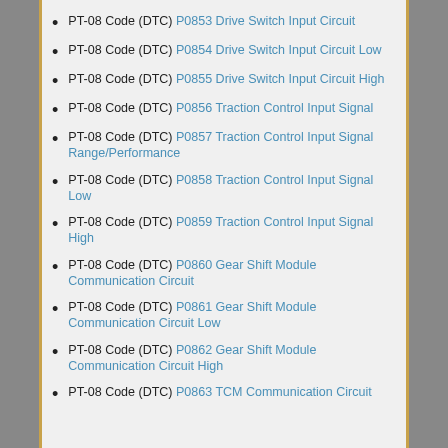PT-08 Code (DTC) P0853 Drive Switch Input Circuit
PT-08 Code (DTC) P0854 Drive Switch Input Circuit Low
PT-08 Code (DTC) P0855 Drive Switch Input Circuit High
PT-08 Code (DTC) P0856 Traction Control Input Signal
PT-08 Code (DTC) P0857 Traction Control Input Signal Range/Performance
PT-08 Code (DTC) P0858 Traction Control Input Signal Low
PT-08 Code (DTC) P0859 Traction Control Input Signal High
PT-08 Code (DTC) P0860 Gear Shift Module Communication Circuit
PT-08 Code (DTC) P0861 Gear Shift Module Communication Circuit Low
PT-08 Code (DTC) P0862 Gear Shift Module Communication Circuit High
PT-08 Code (DTC) P0863 TCM Communication Circuit